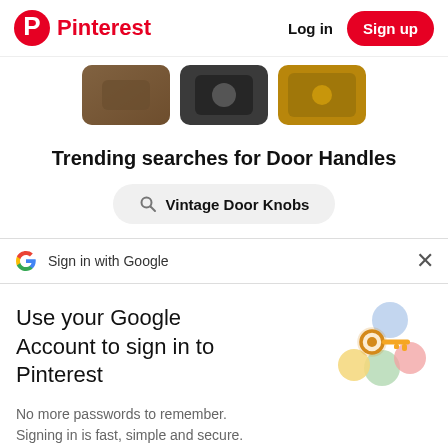Pinterest  Log in  Sign up
[Figure (photo): Three circular/rounded thumbnail images showing door handles or knobs, partially cropped at top]
Trending searches for Door Handles
Vintage Door Knobs
Sign in with Google
Use your Google Account to sign in to Pinterest
No more passwords to remember. Signing in is fast, simple and secure.
[Figure (illustration): Google key illustration with colorful circles and a golden key]
Continue